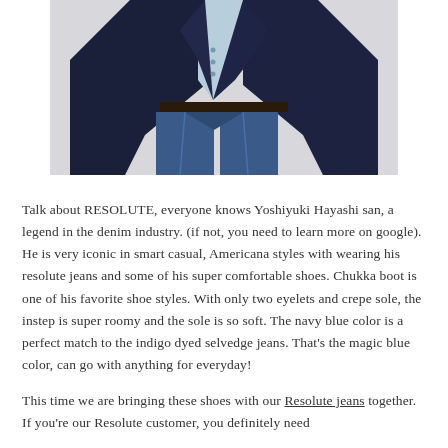[Figure (photo): A person wearing dark navy blazer/jacket and blue denim jeans, cropped at the torso, on a light grey background.]
Talk about RESOLUTE, everyone knows Yoshiyuki Hayashi san, a legend in the denim industry. (if not, you need to learn more on google). He is very iconic in smart casual, Americana styles with wearing his resolute jeans and some of his super comfortable shoes. Chukka boot is one of his favorite shoe styles. With only two eyelets and crepe sole, the instep is super roomy and the sole is so soft. The navy blue color is a perfect match to the indigo dyed selvedge jeans. That's the magic blue color, can go with anything for everyday!
This time we are bringing these shoes with our Resolute jeans together. If you're our Resolute customer, you definitely need